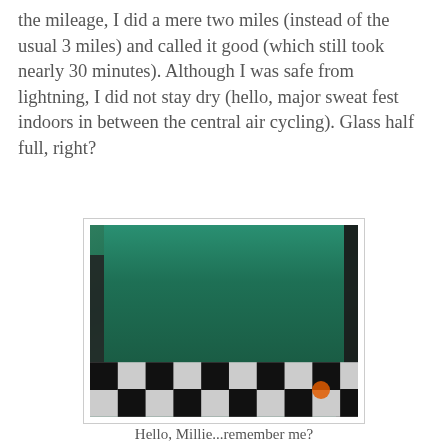the mileage, I did a mere two miles (instead of the usual 3 miles) and called it good (which still took nearly 30 minutes). Although I was safe from lightning, I did not stay dry (hello, major sweat fest indoors in between the central air cycling). Glass half full, right?
[Figure (photo): A person in a green athletic top on a treadmill, viewed from torso down, with black and white checkered floor in the background.]
Hello, Millie...remember me?